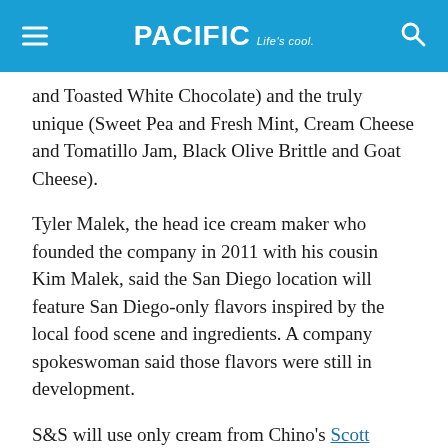PACIFIC Life's cool
and Toasted White Chocolate) and the truly unique (Sweet Pea and Fresh Mint, Cream Cheese and Tomatillo Jam, Black Olive Brittle and Goat Cheese).
Tyler Malek, the head ice cream maker who founded the company in 2011 with his cousin Kim Malek, said the San Diego location will feature San Diego-only flavors inspired by the local food scene and ingredients. A company spokeswoman said those flavors were still in development.
S&S will use only cream from Chino's Scott Brothers Dairy, which will then be churned in 5- to 10-gallon